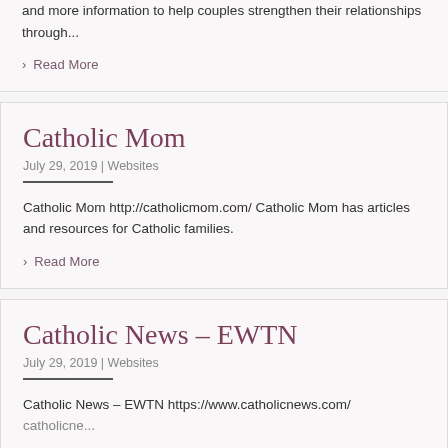and more information to help couples strengthen their relationships through...
› Read More
Catholic Mom
July 29, 2019 | Websites
Catholic Mom http://catholicmom.com/ Catholic Mom has articles and resources for Catholic families.
› Read More
Catholic News – EWTN
July 29, 2019 | Websites
Catholic News – EWTN https://www.catholicnews.com/